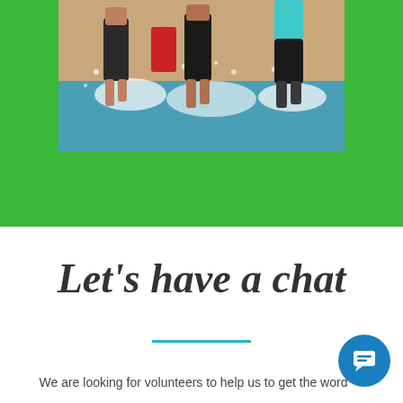[Figure (photo): People splashing through water, legs and feet visible, beach/water setting, action sports or race scene]
Let's have a chat
We are looking for volunteers to help us to get the word